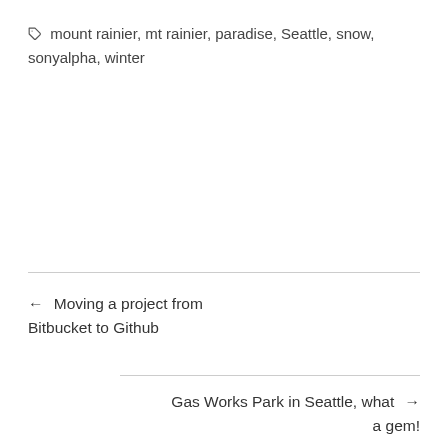mount rainier, mt rainier, paradise, Seattle, snow, sonyalpha, winter
← Moving a project from Bitbucket to Github
Gas Works Park in Seattle, what a gem! →